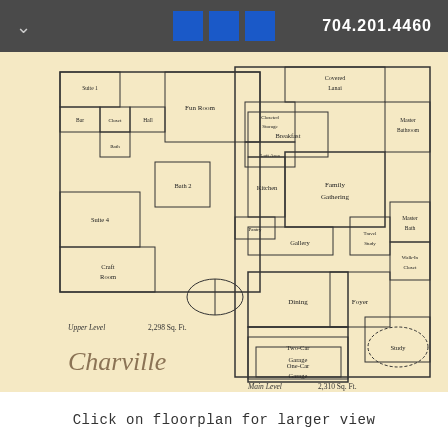704.201.4460
[Figure (engineering-diagram): House floor plan for 'Charville' showing Upper Level (2,298 Sq. Ft.) with rooms including Fun Room, Bath 2, Suite 4, Craft Room, Bar, Hall, Closeted Storage, and various suites; and Main Level (2,310 Sq. Ft.) with rooms including Covered Lanai, Breakfast, Family Gathering, Kitchen, Master Bathroom, Master Bath, Walk-In Closet, Gallery, Travel Study, Foyer, Dining, Two-Car Garage, One-Car Garage, and Study. The plan name 'Charville' is shown in script lettering.]
Click on floorplan for larger view